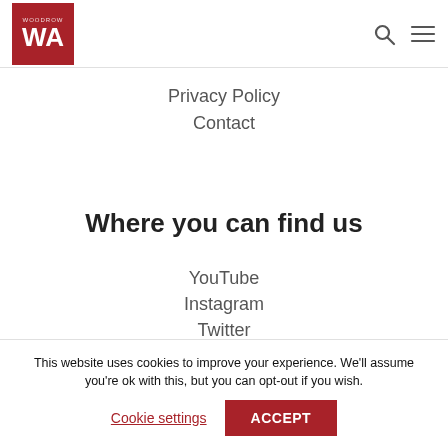WA logo with search and menu icons
Privacy Policy
Contact
Where you can find us
YouTube
Instagram
Twitter
This website uses cookies to improve your experience. We'll assume you're ok with this, but you can opt-out if you wish.
Cookie settings | ACCEPT